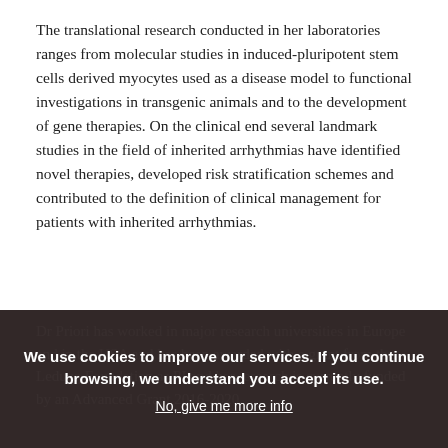The translational research conducted in her laboratories ranges from molecular studies in induced-pluripotent stem cells derived myocytes used as a disease model to functional investigations in transgenic animals and to the development of gene therapies. On the clinical end several landmark studies in the field of inherited arrhythmias have identified novel therapies, developed risk stratification schemes and contributed to the definition of clinical management for patients with inherited arrhythmias.
Dr Priori has worked in major research universities in Europe and in the USA and has been awarded with a grant from the Leducq Foundation as PI and her research is currently funded by an Advanced Grant 2016-2020.
We use cookies to improve our services. If you continue browsing, we understand you accept its use.
No, give me more info